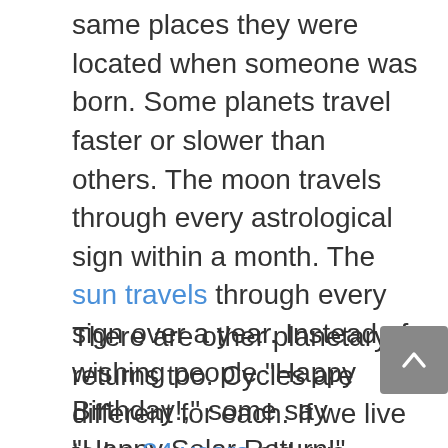same places they were located when someone was born. Some planets travel faster or slower than others. The moon travels through every astrological sign within a month. The sun travels through every sign over a year. Instead of wishing people “Happy Birthday!,” some say “Happy Solar Return!” Which is the day and time each year when the sun is in the same spot as it was when you were born.
There are other planetary returns too. Cycles are different for each. If we live to be 84 years old, we could experience a Uranus return. Many people talk about our first Saturn return at around 29 years of age. Depending on how long we live, we could have two or three Saturn returns.
Now Pluto is another story. A Pluto return is 248